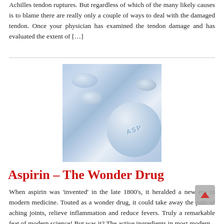Achilles tendon ruptures. But regardless of which of the many likely causes is to blame there are really only a couple of ways to deal with the damaged tendon. Once your physician has examined the tendon damage and has evaluated the extent of […]
[Figure (photo): Close-up photograph of aspirin tablets on a gray surface. A large round aspirin tablet with 'ASP' embossed on it is in the foreground, with several smaller oval aspirin tablets behind it.]
Aspirin – The Wonder Drug
When aspirin was 'invented' in the late 1800's, it heralded a new era in modern medicine. Touted as a wonder drug, it could take away the pain of aching joints, relieve inflammation and reduce fevers. Truly a remarkable feat of modern science! But was it? The active ingredients in most modern